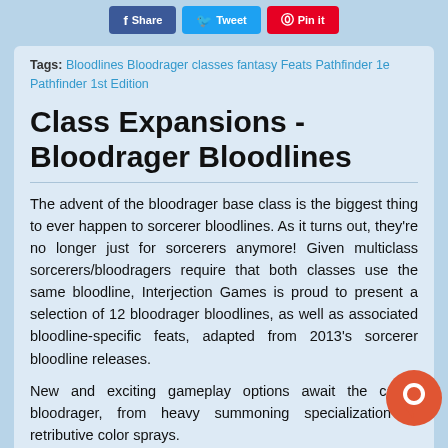[Figure (other): Social share buttons: Facebook Share, Twitter Tweet, Pinterest Pin it]
Tags: Bloodlines Bloodrager classes fantasy Feats Pathfinder 1e Pathfinder 1st Edition
Class Expansions - Bloodrager Bloodlines
The advent of the bloodrager base class is the biggest thing to ever happen to sorcerer bloodlines. As it turns out, they're no longer just for sorcerers anymore! Given multiclass sorcerers/bloodragers require that both classes use the same bloodline, Interjection Games is proud to present a selection of 12 bloodrager bloodlines, as well as associated bloodline-specific feats, adapted from 2013's sorcerer bloodline releases.
New and exciting gameplay options await the canny bloodrager, from heavy summoning specialization to retributive color sprays.